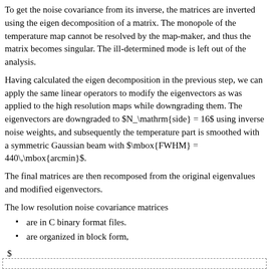To get the noise covariance from its inverse, the matrices are inverted using the eigen decomposition of a matrix. The monopole of the temperature map cannot be resolved by the map-maker, and thus the matrix becomes singular. The ill-determined mode is left out of the analysis.
Having calculated the eigen decomposition in the previous step, we can apply the same linear operators to modify the eigenvectors as was applied to the high resolution maps while downgrading them. The eigenvectors are downgraded to $N_\mathrm{side} = 16$ using inverse noise weights, and subsequently the temperature part is smoothed with a symmetric Gaussian beam with $\mbox{FWHM} = 440\,\mbox{arcmin}$.
The final matrices are then recomposed from the original eigenvalues and modified eigenvectors.
The low resolution noise covariance matrices
are in C binary format files.
are organized in block form,